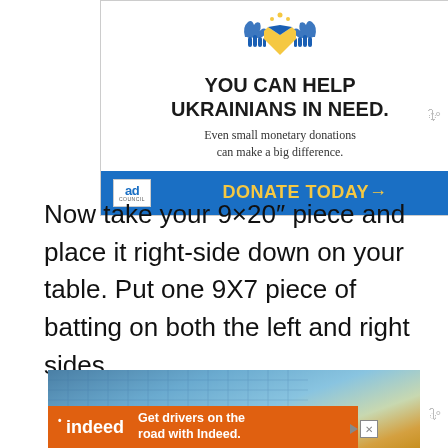[Figure (infographic): Ad Council advertisement for Ukrainian donations. Shows Ukrainian-themed icon (hands holding heart/shield with yellow and blue colors). Headline: YOU CAN HELP UKRAINIANS IN NEED. Subtext: Even small monetary donations can make a big difference. Blue bottom bar with Ad Council logo and DONATE TODAY→ in yellow.]
Now take your 9×20″ piece and place it right-side down on your table. Put one 9X7 piece of batting on both the left and right sides.
[Figure (photo): Indeed advertisement. Background photo showing a cutting mat/craft surface with yellow tools. Orange bar at bottom with Indeed logo and text: Get drivers on the road with Indeed.]